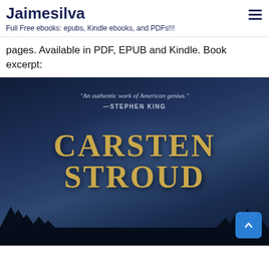Jaimesilva
Full Free ebooks: epubs, Kindle ebooks, and PDFs!!!
pages. Available in PDF, EPUB and Kindle. Book excerpt:
[Figure (photo): Book cover of a Carsten Stroud novel with a dark blue/navy background, large gold text reading 'CARSTEN STROUD', a quote at the top reading '"An authentic work of American genius." —STEPHEN KING', and dark tree silhouettes at the bottom. A blue scroll-to-top button with an upward caret is overlaid in the bottom right corner.]